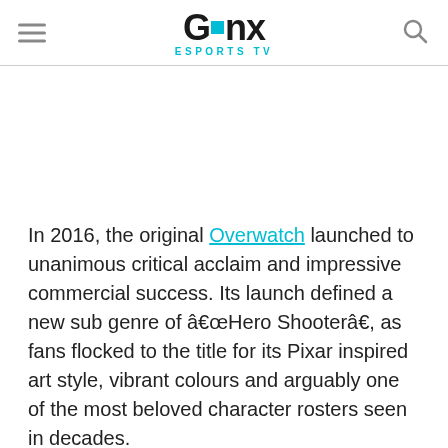GINX ESPORTS TV
In 2016, the original Overwatch launched to unanimous critical acclaim and impressive commercial success. Its launch defined a new sub genre of “Hero Shooter”, as fans flocked to the title for its Pixar inspired art style, vibrant colours and arguably one of the most beloved character rosters seen in decades.